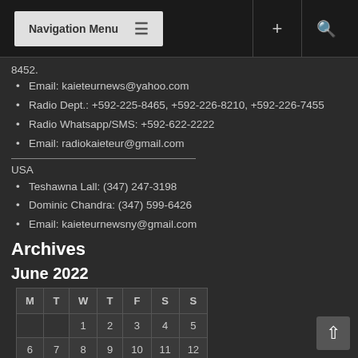Navigation Menu
8452.
Email: kaieteurnews@yahoo.com
Radio Dept.: +592-225-8465, +592-226-8210, +592-226-7455
Radio Whatsapp/SMS: +592-622-2222
Email: radiokaieteur@gmail.com
USA
Teshawna Lall: (347) 247-3198
Dominic Chandra: (347) 599-6426
Email: kaieteurnewsny@gmail.com
Archives
June 2022
| M | T | W | T | F | S | S |
| --- | --- | --- | --- | --- | --- | --- |
|  |  | 1 | 2 | 3 | 4 | 5 |
| 6 | 7 | 8 | 9 | 10 | 11 | 12 |